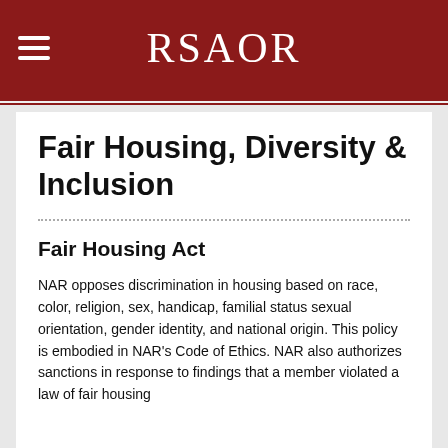RSAOR
Fair Housing, Diversity & Inclusion
Fair Housing Act
NAR opposes discrimination in housing based on race, color, religion, sex, handicap, familial status sexual orientation, gender identity, and national origin. This policy is embodied in NAR's Code of Ethics. NAR also authorizes sanctions in response to findings that a member violated a law of fair housing